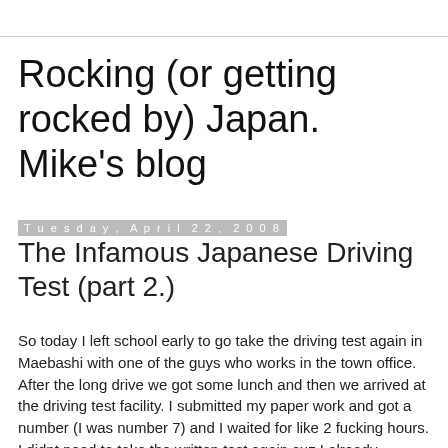Rocking (or getting rocked by) Japan. Mike's blog
Tuesday, April 22, 2008
The Infamous Japanese Driving Test (part 2.)
So today I left school early to go take the driving test again in Maebashi with one of the guys who works in the town office. After the long drive we got some lunch and then we arrived at the driving test facility. I submitted my paper work and got a number (I was number 7) and I waited for like 2 fucking hours. I didnt need to take the written test again cuz I already perfected that shit last time. As everyone was waiting right